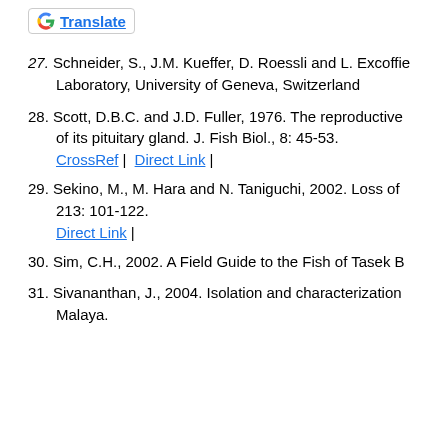27. Schneider, S., J.M. Kueffer, D. Roessli and L. Excoffier, Laboratory, University of Geneva, Switzerland
28. Scott, D.B.C. and J.D. Fuller, 1976. The reproductive of its pituitary gland. J. Fish Biol., 8: 45-53. CrossRef | Direct Link |
29. Sekino, M., M. Hara and N. Taniguchi, 2002. Loss of 213: 101-122. Direct Link |
30. Sim, C.H., 2002. A Field Guide to the Fish of Tasek B
31. Sivananthan, J., 2004. Isolation and characterization Malaya.